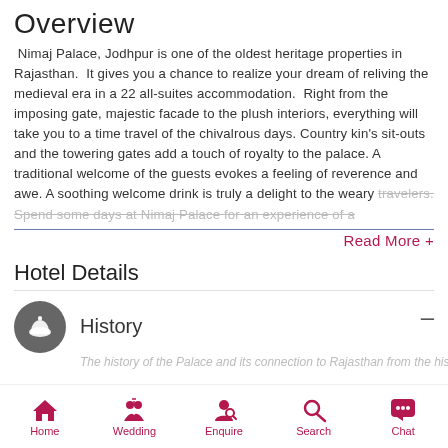Overview
Nimaj Palace, Jodhpur is one of the oldest heritage properties in Rajasthan. It gives you a chance to realize your dream of reliving the medieval era in a 22 all-suites accommodation. Right from the imposing gate, majestic facade to the plush interiors, everything will take you to a time travel of the chivalrous days. Country kin's sit-outs and the towering gates add a touch of royalty to the palace. A traditional welcome of the guests evokes a feeling of reverence and awe. A soothing welcome drink is truly a delight to the weary travelers. Spend some days at Nimaj Palace for an experience of a...
Read More +
Hotel Details
History
The history of the Palace...
Home  Wedding  Enquire  Search  Chat